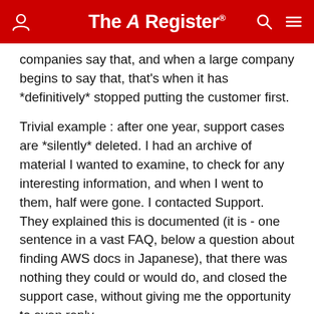The Register
companies say that, and when a large company begins to say that, that's when it has *definitively* stopped putting the customer first.
Trivial example : after one year, support cases are *silently* deleted. I had an archive of material I wanted to examine, to check for any interesting information, and when I went to them, half were gone. I contacted Support. They explained this is documented (it is - one sentence in a vast FAQ, below a question about finding AWS docs in Japanese), that there was nothing they could or would do, and closed the support case, without giving me the opportunity to even reply.
You'd have to come away from that thinking they just don't care.
I actually stopped using Amazon about a year ago, after El Reg produced a report on the working conditions in their warehouses.